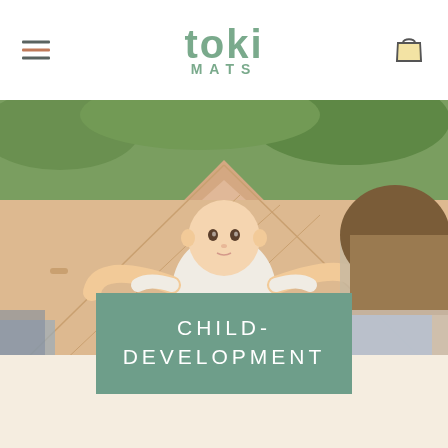toki MATS
[Figure (photo): Baby lying on a beige padded play mat outdoors on grass, with a woman visible in the foreground right corner. The mat has diamond quilted pattern stitching. The baby is wearing a white short-sleeve onesie and white shorts.]
CHILD-DEVELOPMENT